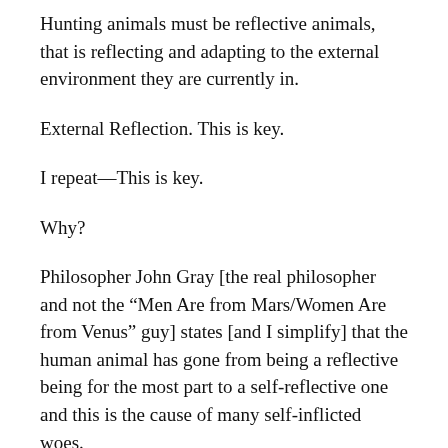Hunting animals must be reflective animals, that is reflecting and adapting to the external environment they are currently in.
External Reflection. This is key.
I repeat—This is key.
Why?
Philosopher John Gray [the real philosopher and not the “Men Are from Mars/Women Are from Venus” guy] states [and I simplify] that the human animal has gone from being a reflective being for the most part to a self-reflective one and this is the cause of many self-inflicted woes.
This is that key difference. Successful hunting animals are keen observers of their environment